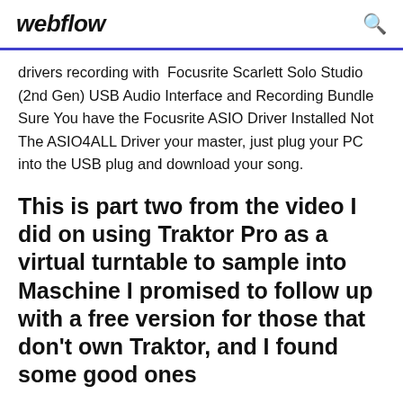webflow
drivers recording with Focusrite Scarlett Solo Studio (2nd Gen) USB Audio Interface and Recording Bundle Sure You have the Focusrite ASIO Driver Installed Not The ASIO4ALL Driver your master, just plug your PC into the USB plug and download your song.
This is part two from the video I did on using Traktor Pro as a virtual turntable to sample into Maschine I promised to follow up with a free version for those that don’t own Traktor, and I found some good ones